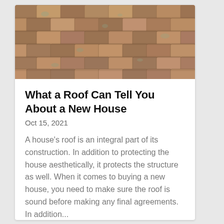[Figure (photo): Close-up photo of aged clay/terracotta roof tiles arranged in overlapping rows, showing weathering and patina.]
What a Roof Can Tell You About a New House
Oct 15, 2021
A house's roof is an integral part of its construction. In addition to protecting the house aesthetically, it protects the structure as well. When it comes to buying a new house, you need to make sure the roof is sound before making any final agreements. In addition...
read more